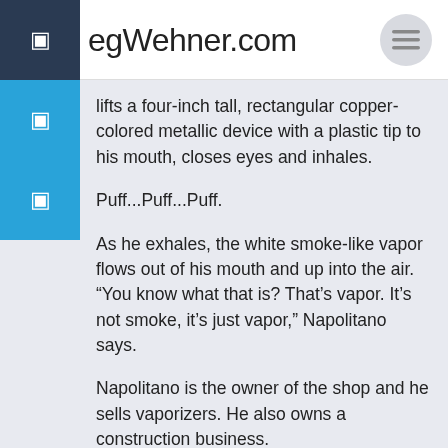GregWehner.com
lifts a four-inch tall, rectangular copper-colored metallic device with a plastic tip to his mouth, closes eyes and inhales.
Puff...Puff...Puff.
As he exhales, the white smoke-like vapor flows out of his mouth and up into the air. “You know what that is? That’s vapor. It’s not smoke, it’s just vapor,” Napolitano says.
Napolitano is the owner of the shop and he sells vaporizers. He also owns a construction business.
Vaping has not been approved by the Food and Drug Administration as a way to quit smoking, but